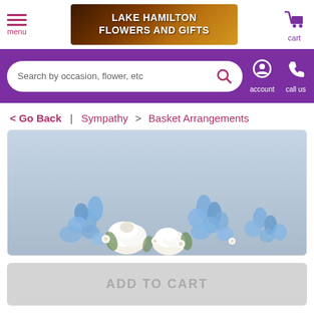menu | LAKE HAMILTON FLOWERS AND GIFTS | cart
[Figure (screenshot): Purple navigation bar with search box reading 'Search by occasion, flower, etc', account icon, and call us icon]
< Go Back | Sympathy > Basket Arrangements
[Figure (photo): Photo of a basket arrangement with white roses and blue delphinium flowers on a light blue-grey background]
ADD TO CART